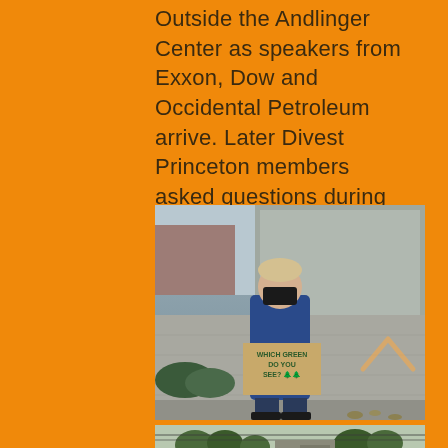Outside the Andlinger Center as speakers from Exxon, Dow and Occidental Petroleum arrive. Later Divest Princeton members asked questions during the event that went unanswered.
[Figure (photo): A person wearing a mask and blue hoodie stands outside a concrete building holding a cardboard sign reading 'WHICH GREEN DO YOU SEE?' with tree emojis. The background shows a brutalist concrete building and overcast sky.]
[Figure (photo): Partial view of a street scene with trees, power lines, and buildings visible in the background.]